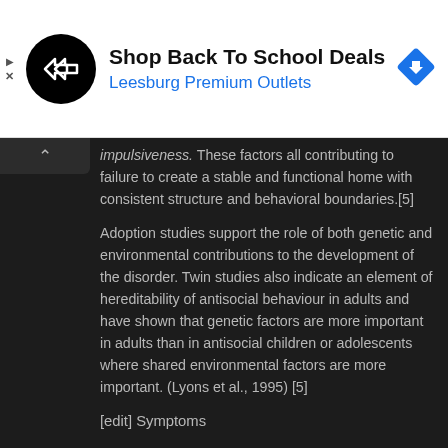[Figure (infographic): Advertisement banner: black circular logo with overlapping arrow shapes, text 'Shop Back To School Deals' in bold black, 'Leesburg Premium Outlets' in blue, blue diamond turn-sign icon on right. Small play/triangle and X icons on far left.]
impulsiveness. These factors all contributing to failure to create a stable and functional home with consistent structure and behavioral boundaries.[5]
Adoption studies support the role of both genetic and environmental contributions to the development of the disorder. Twin studies also indicate an element of hereditability of antisocial behaviour in adults and have shown that genetic factors are more important in adults than in antisocial children or adolescents where shared environmental factors are more important. (Lyons et al., 1995) [5]
[edit] Symptoms
Common characteristics of people with antisocial personality disorder include: